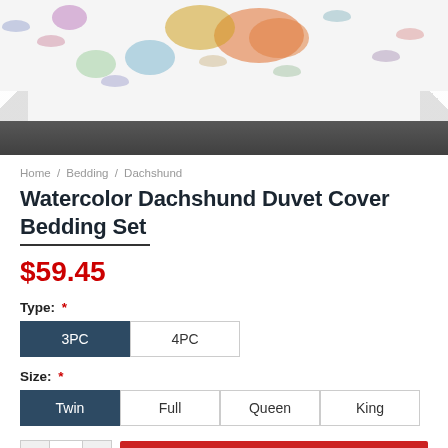[Figure (photo): Product photo of a Watercolor Dachshund Duvet Cover Bedding Set showing white fabric with colorful watercolor dachshund dog silhouettes spread over a dark wood surface]
Home / Bedding / Dachshund
Watercolor Dachshund Duvet Cover Bedding Set
$59.45
Type: *
3PC | 4PC
Size: *
Twin | Full | Queen | King